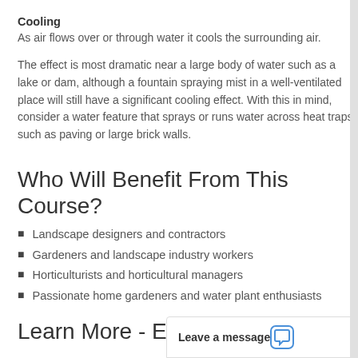Cooling
As air flows over or through water it cools the surrounding air.
The effect is most dramatic near a large body of water such as a lake or dam, although a fountain spraying mist in a well-ventilated place will still have a significant cooling effect. With this in mind, consider a water feature that sprays or runs water across heat traps such as paving or large brick walls.
Who Will Benefit From This Course?
Landscape designers and contractors
Gardeners and landscape industry workers
Horticulturists and horticultural managers
Passionate home gardeners and water plant enthusiasts
Learn More - Enrol Now
Leave a message